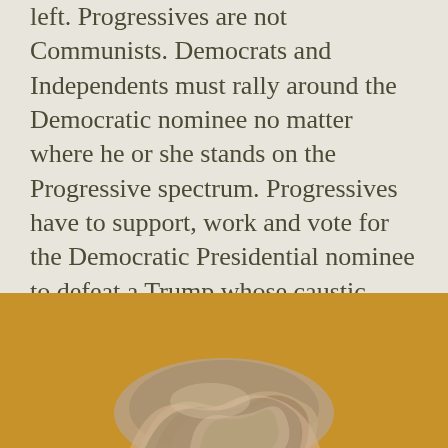...Liberalism is an antidote to the left. Progressives are not Communists. Democrats and Independents must rally around the Democratic nominee no matter where he or she stands on the Progressive spectrum. Progressives have to support, work and vote for the Democratic Presidential nominee to defeat a Trump whose caustic governing and campaigning is endangering our Democracy. The progressive electorate must be indivisible.
[Figure (photo): A knotted or tangled mass of rope or fiber photographed against a golden yellow/amber background, partially visible at the bottom of the page.]